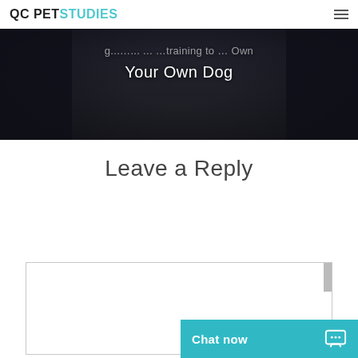QC PET STUDIES
[Figure (photo): Dark hero banner image with a dog (likely black-furred), with overlaid white text partially visible reading '...Your Own Dog']
Your Own Dog
Leave a Reply
[Figure (screenshot): Empty comment textarea input box with a thin border]
Chat now